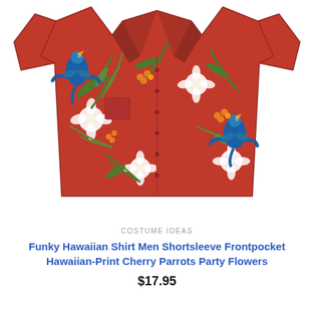[Figure (photo): Red Hawaiian shirt with tropical print featuring blue parrots, white hibiscus flowers, green palm leaves, and orange cherry clusters on a red background. Short sleeve, button-up style with collar and front pocket.]
COSTUME IDEAS
Funky Hawaiian Shirt Men Shortsleeve Frontpocket Hawaiian-Print Cherry Parrots Party Flowers
$17.95